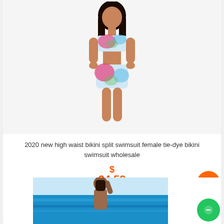[Figure (photo): Woman wearing a tie-dye high waist bikini split swimsuit with colorful floral pattern in pink, blue and green on white background]
2020 new high waist bikini split swimsuit female tie-dye bikini swimsuit wholesale
$ 24.59
[Figure (photo): Woman in swimsuit at the beach with turquoise ocean water in the background, hand raised to head]